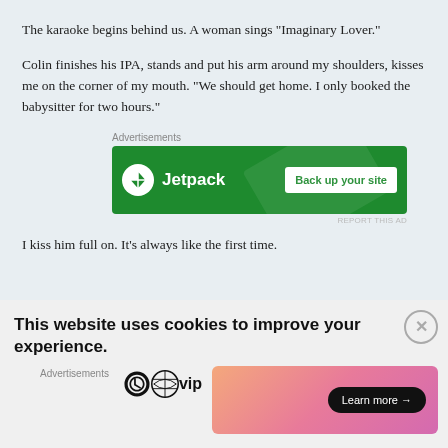The karaoke begins behind us. A woman sings “Imaginary Lover.”
Colin finishes his IPA, stands and put his arm around my shoulders, kisses me on the corner of my mouth. “We should get home. I only booked the babysitter for two hours.”
[Figure (other): Jetpack advertisement banner with green background, Jetpack logo and 'Back up your site' button]
I kiss him full on. It’s always like the first time.
This website uses cookies to improve your experience.
[Figure (other): WordPress VIP advertisement banner with gradient background and 'Learn more' button]